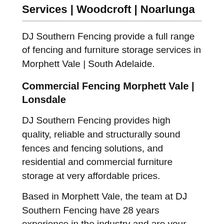Services | Woodcroft | Noarlunga
DJ Southern Fencing provide a full range of fencing and furniture storage services in Morphett Vale | South Adelaide.
Commercial Fencing Morphett Vale | Lonsdale
DJ Southern Fencing provides high quality, reliable and structurally sound fences and fencing solutions, and residential and commercial furniture storage at very affordable prices.
Based in Morphett Vale, the team at DJ Southern Fencing have 28 years experience in the industry and are your local fencing specialists.